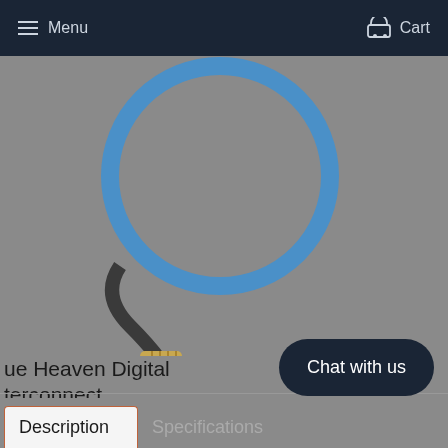Menu   Cart
[Figure (photo): Blue coaxial cable with BNC connector, curved in a loop against a gray background. The cable is blue with a metallic BNC connector at the end.]
Blue Heaven Digital Interconnect
$39.95
Chat with us
Description   Specifications